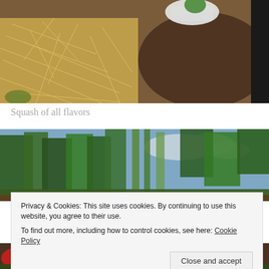[Figure (photo): Close-up of garden soil with straw mulch, a white plastic bag, and dark soil around a small planted seedling, with a black border strip visible on the right.]
Squash of all flavors
[Figure (photo): Outdoor garden scene with tall green trees against a partly cloudy sky, with garden rows visible in the foreground.]
Privacy & Cookies: This site uses cookies. By continuing to use this website, you agree to their use.
To find out more, including how to control cookies, see here: Cookie Policy
[Figure (photo): Bottom strip of garden photo showing red and green plants in garden rows.]